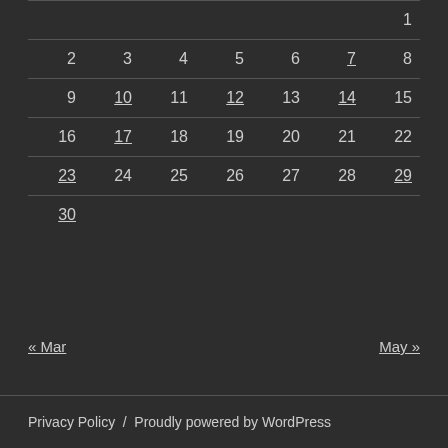| Sun | Mon | Tue | Wed | Thu | Fri | Sat |
| --- | --- | --- | --- | --- | --- | --- |
|  |  |  |  |  |  | 1 |
| 2 | 3 | 4 | 5 | 6 | 7* | 8 |
| 9 | 10* | 11 | 12* | 13 | 14* | 15 |
| 16 | 17* | 18 | 19 | 20 | 21 | 22 |
| 23* | 24 | 25 | 26 | 27 | 28 | 29* |
| 30* |  |  |  |  |  |  |
« Mar    May »
Privacy Policy  /  Proudly powered by WordPress